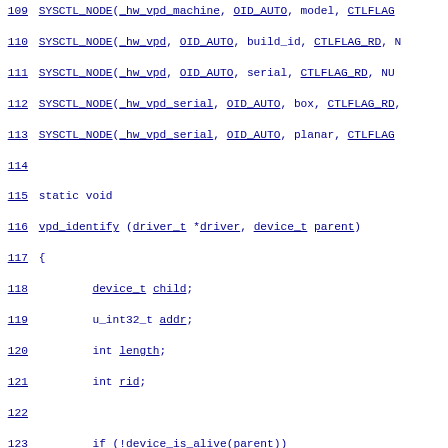[Figure (screenshot): Source code listing showing lines 109-140 of a C program implementing VPD (Vital Product Data) device identification. Code is shown in blue monospace font with line numbers hyperlinked on the left. Contains SYSCTL_NODE macros, a vpd_identify function with device tree operations, bios_sigsearch call, BUS_ADD_CHILD, device_set_driver, bus_set_resource, device_set_desc calls, and a static int declaration at line 140.]